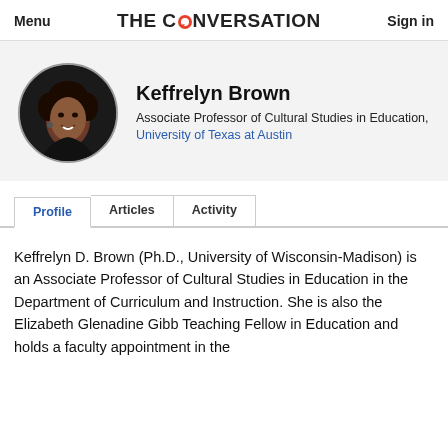Menu | THE CONVERSATION | Sign in
[Figure (photo): Circular profile photo of Keffrelyn Brown, a woman with curly hair, smiling, wearing a dark jacket against a dark background.]
Keffrelyn Brown
Associate Professor of Cultural Studies in Education, University of Texas at Austin
Profile | Articles | Activity
Keffrelyn D. Brown (Ph.D., University of Wisconsin-Madison) is an Associate Professor of Cultural Studies in Education in the Department of Curriculum and Instruction. She is also the Elizabeth Glenadine Gibb Teaching Fellow in Education and holds a faculty appointment in the